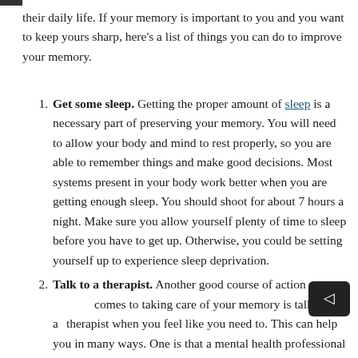their daily life. If your memory is important to you and you want to keep yours sharp, here's a list of things you can do to improve your memory.
Get some sleep. Getting the proper amount of sleep is a necessary part of preserving your memory. You will need to allow your body and mind to rest properly, so you are able to remember things and make good decisions. Most systems present in your body work better when you are getting enough sleep. You should shoot for about 7 hours a night. Make sure you allow yourself plenty of time to sleep before you have to get up. Otherwise, you could be setting yourself up to experience sleep deprivation.
Talk to a therapist. Another good course of action w comes to taking care of your memory is talking to a therapist when you feel like you need to. This can help you in many ways. One is that a mental health professional